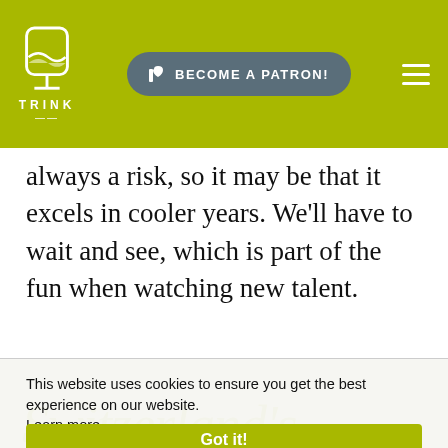TRINK | BECOME A PATRON!
...g is always a risk, so it may be that it excels in cooler years. We'll have to wait and see, which is part of the fun when watching new talent.
This website uses cookies to ensure you get the best experience on our website. Learn more
Got it!
Switzerland's